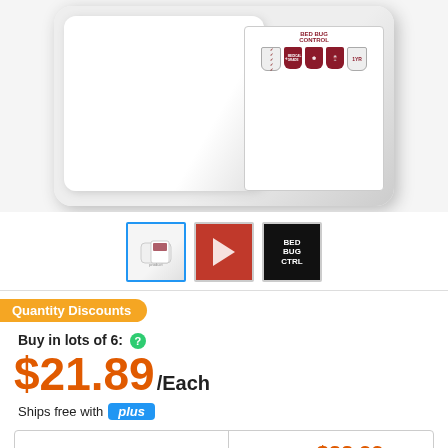[Figure (photo): Product photo of bed pillow protector package with feature badges showing medical grade, allergen protection, and 1-year warranty]
[Figure (photo): Three thumbnail images: product image (selected, blue border), video thumbnail with play button on red background, dark thumbnail with text BEDBUG CTRL]
Quantity Discounts
Buy in lots of 6:
$21.89/Each
Ships free with plus
| Regularly: | $22.99/Each |
| --- | --- |